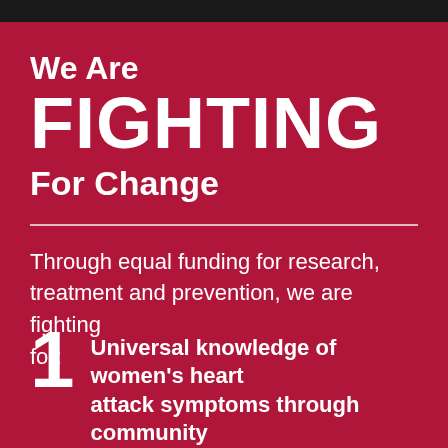We Are FIGHTING For Change
Through equal funding for research, treatment and prevention, we are fighting for:
1 Universal knowledge of women's heart attack symptoms through community